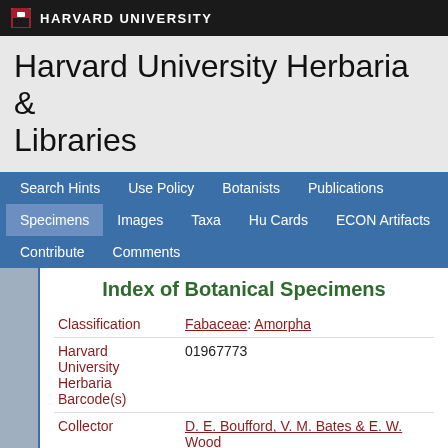HARVARD UNIVERSITY
Harvard University Herbaria & Libraries
Search Hints  Use Policy  Botanists  Publications  Specimens  Images  Taxa  Hu Cards  ECON Artifacts  Contribute  Comments
Index of Botanical Specimens
| Field | Value |
| --- | --- |
| Classification | Fabaceae: Amorpha |
| Harvard University Herbaria Barcode(s) | 01967773 |
| Collector | D. E. Boufford, V. M. Bates & E. W. Wood |
| Collector number | 25557 |
| Country | United States of America |
| State | Arkansas |